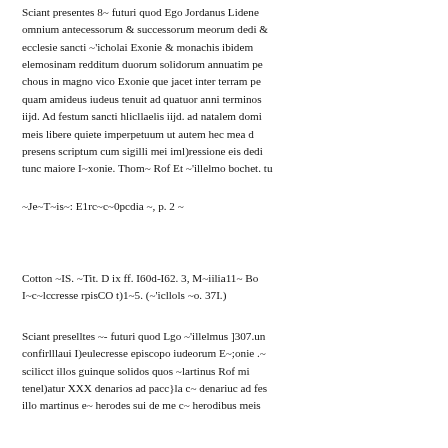Sciant presentes 8~ futuri quod Ego Jordanus Lidene omnium antecessorum & successorum meorum dedi & ecclesie sancti ~'icholai Exonie & monachis ibidem elemosinam redditum duorum solidorum annuatim pe chous in magno vico Exonie que jacet inter terram pe quam amideus iudeus tenuit ad quatuor anni terminos iijd. Ad festum sancti hlicllaelis iijd. ad natalem domi meis libere quiete imperpetuum ut autem hec mea d presens scriptum cum sigilli mei iml)ressione eis dedi tunc maiore I~xonie. Thom~ Rof Et ~'illelmo bochet. tu
~Je~T~is~: E1rc~c~0pcdia ~, p. 2 ~
Cotton ~IS. ~Tit. D ix ff. I60d-I62. 3, M~iilia11~ Bo I~c~lccresse rpisCO t)1~5. (~'icllols ~o. 37I.)
Sciant preselltes ~- futuri quod Lgo ~'illelmus ]307.un confirlllaui I)eulecresse episcopo iudeorum E~;onie .~ scilicct illos guinque solidos quos ~lartinus Rof mi tenel)atur XXX denarios ad pacc}la c~ denariuc ad fes illo martinus e~ herodes sui de me c~ herodibus meis